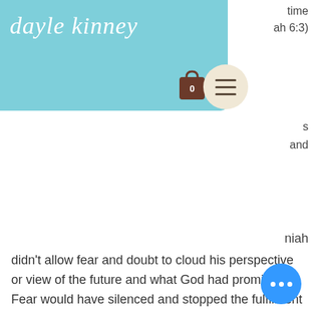[Figure (screenshot): Website header with light blue/teal background showing the 'dayle kinney' logo in white italic script font on the left, a shopping cart icon with badge '0' and a circular menu button with three horizontal lines on the right side of the header.]
time
ah 6:3)
s
and
niah
didn't allow fear and doubt to cloud his perspective or view of the future and what God had promised. Fear would have silenced and stopped the fulfilment of both he and his countryman's purpose. The people were under attack, had suffered failure and discouragement and didn't know what to do. Because of this, Nehemiah knew he must stand strong. He remained upon the wall away from distractors and determined within